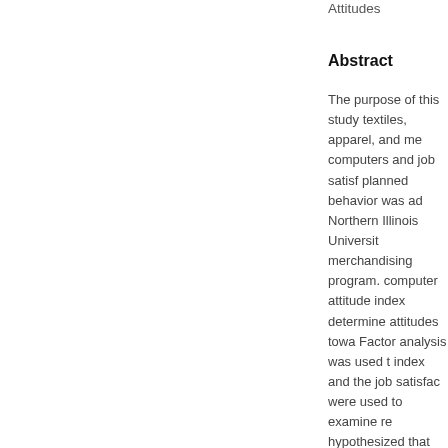Attitudes
Abstract
The purpose of this study textiles, apparel, and me computers and job satisf planned behavior was ad Northern Illinois Universit merchandising program. computer attitude index determine attitudes towa Factor analysis was used index and the job satisfac were used to examine re hypothesized that the m merchandising graduates their intent would be to u Azjen?s theory of planne of intent at a .05 level. Se positive textiles, apparel, toward computers the hi attitude scores and the j factor analysis, this hypot factors COMPENS (perce (comfort levels on compu